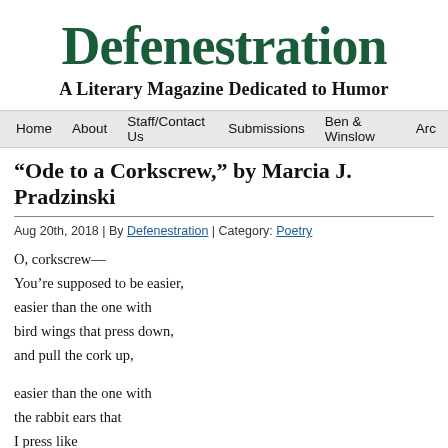Defenestration
A Literary Magazine Dedicated to Humor
Home | About | Staff/Contact Us | Submissions | Ben & Winslow | Arc
“Ode to a Corkscrew,” by Marcia J. Pradzinski
Aug 20th, 2018 | By Defenestration | Category: Poetry
O, corkscrew—
You’re supposed to be easier,
easier than the one with
bird wings that press down,
and pull the cork up,
easier than the one with
the rabbit ears that
I press like
a stevedore